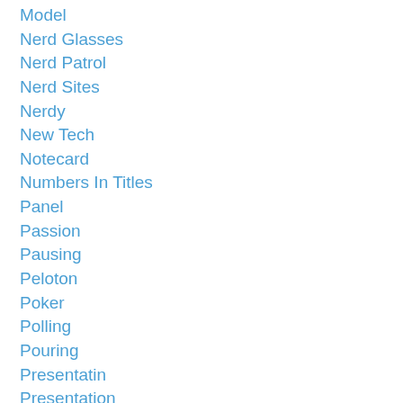Model
Nerd Glasses
Nerd Patrol
Nerd Sites
Nerdy
New Tech
Notecard
Numbers In Titles
Panel
Passion
Pausing
Peloton
Poker
Polling
Pouring
Presentatin
Presentation
Presenting To Cpas
Procrastination
Product
Product P...